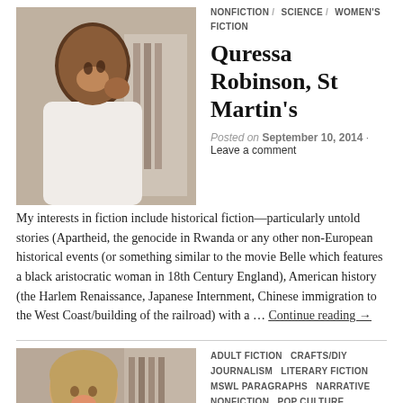[Figure (photo): Photo of Quressa Robinson, a smiling Black woman in a white top, seated in a room with bookshelves in the background.]
NONFICTION / SCIENCE / WOMEN'S FICTION
Quressa Robinson, St Martin's
Posted on September 10, 2014 · Leave a comment
My interests in fiction include historical fiction—particularly untold stories (Apartheid, the genocide in Rwanda or any other non-European historical events (or something similar to the movie Belle which features a black aristocratic woman in 18th Century England), American history (the Harlem Renaissance, Japanese Internment, Chinese immigration to the West Coast/building of the railroad) with a … Continue reading →
[Figure (photo): Photo of Meredith Bernstein, a woman with blonde hair smiling, with bookshelves in the background.]
ADULT FICTION  CRAFTS/DIY  JOURNALISM  LITERARY FICTION  MSWL PARAGRAPHS  NARRATIVE NONFICTION  POP CULTURE  WOMEN'S FICTION  YOUNG ADULT
Meredith Bernstein,